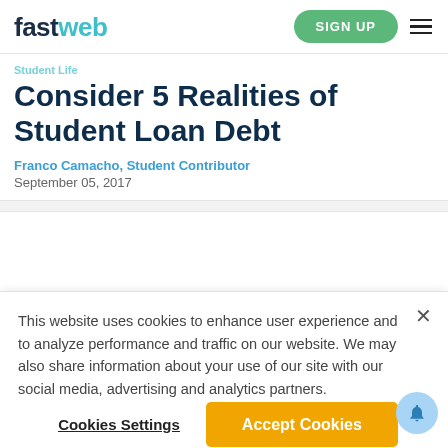fastweb — SIGN UP
Student Life
Consider 5 Realities of Student Loan Debt
Franco Camacho, Student Contributor
September 05, 2017
This website uses cookies to enhance user experience and to analyze performance and traffic on our website. We may also share information about your use of our site with our social media, advertising and analytics partners.
Cookies Settings  Accept Cookies